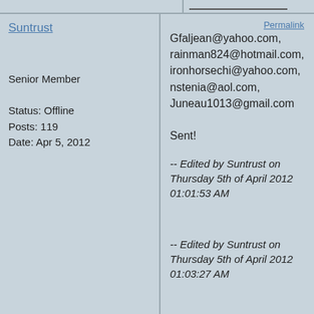Suntrust
Senior Member
Status: Offline
Posts: 119
Date: Apr 5, 2012
Permalink
Gfaljean@yahoo.com, rainman824@hotmail.com, ironhorsechi@yahoo.com, nstenia@aol.com, Juneau1013@gmail.com

Sent!
-- Edited by Suntrust on Thursday 5th of April 2012 01:01:53 AM
-- Edited by Suntrust on Thursday 5th of April 2012 01:03:27 AM